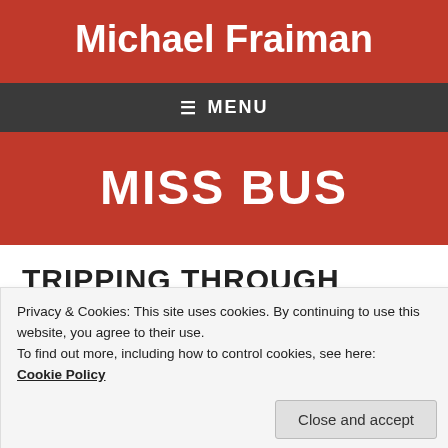Michael Fraiman
≡ MENU
MISS BUS
TRIPPING THROUGH
Privacy & Cookies: This site uses cookies. By continuing to use this website, you agree to their use.
To find out more, including how to control cookies, see here:
Cookie Policy
Close and accept
Posted on March 28, 2013